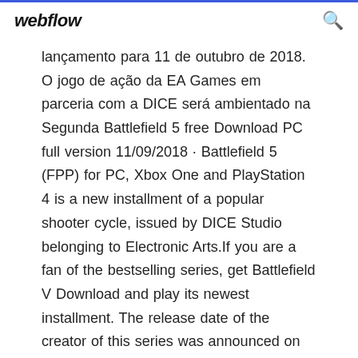webflow
lançamento para 11 de outubro de 2018. O jogo de ação da EA Games em parceria com a DICE será ambientado na Segunda Battlefield 5 free Download PC full version 11/09/2018 · Battlefield 5 (FPP) for PC, Xbox One and PlayStation 4 is a new installment of a popular shooter cycle, issued by DICE Studio belonging to Electronic Arts.If you are a fan of the bestselling series, get Battlefield V Download and play its newest installment. The release date of the creator of this series was announced on November 15, 2018. JOGO: BATTLEFIELD 3 PT-BR + CRACK TORRENT ...
01/10/2018 · Battlefield f...